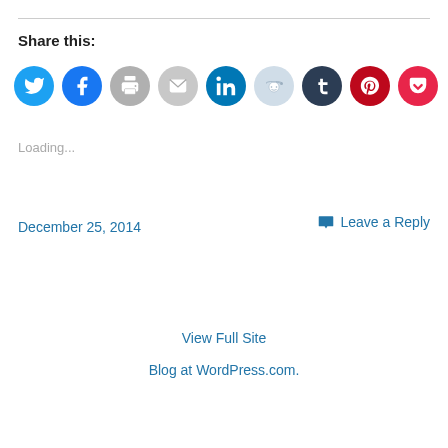Share this:
[Figure (infographic): Row of 9 social sharing icons: Twitter (blue), Facebook (dark blue), Print (gray), Email (gray), LinkedIn (dark teal), Reddit (light blue-gray), Tumblr (dark navy), Pinterest (red), Pocket (red)]
Loading...
December 25, 2014
Leave a Reply
View Full Site
Blog at WordPress.com.